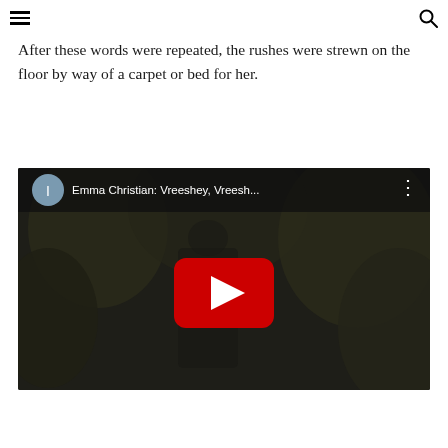≡  🔍
After these words were repeated, the rushes were strewn on the floor by way of a carpet or bed for her.
[Figure (screenshot): YouTube video embed thumbnail showing 'Emma Christian: Vreeshey, Vreesh...' with a YouTube play button overlay on a dark nature background.]